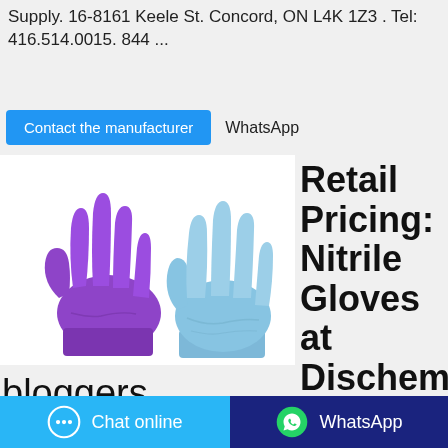Supply. 16-8161 Keele St. Concord, ON L4K 1Z3 . Tel: 416.514.0015. 844 ...
Contact the manufacturer   WhatsApp
[Figure (photo): Two nitrile gloves side by side: a purple glove on the left and a blue/light blue glove on the right, both shown palm-side facing viewer on white background.]
Retail Pricing: Nitrile Gloves at Dischem – R–
bloggers
Jan 04, 2021·The price of these gloves has been bumped
Chat online   WhatsApp